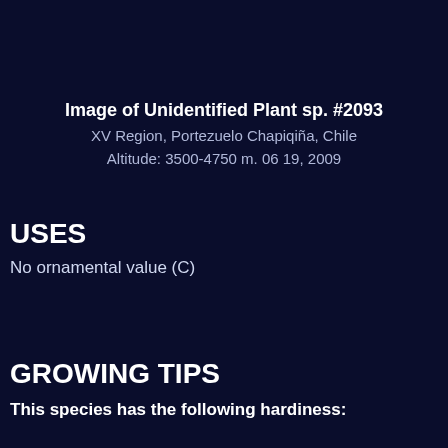Image of Unidentified Plant sp. #2093
XV Region, Portezuelo Chapiqiña, Chile
Altitude: 3500-4750 m. 06 19, 2009
USES
No ornamental value (C)
GROWING TIPS
This species has the following hardiness: